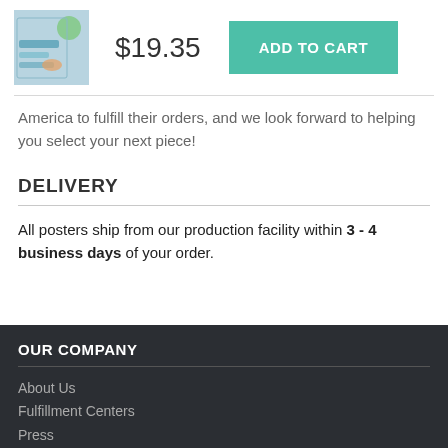[Figure (photo): Product thumbnail image showing a poster with illustrated design]
$19.35
ADD TO CART
America to fulfill their orders, and we look forward to helping you select your next piece!
DELIVERY
All posters ship from our production facility within 3 - 4 business days of your order.
OUR COMPANY
About Us
Fulfillment Centers
Press